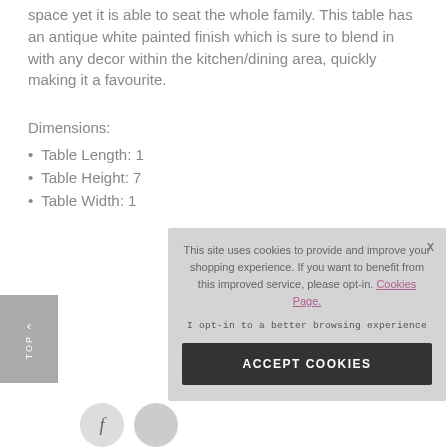space yet it is able to seat the whole family. This table has an antique white painted finish which is sure to blend in with any decor within the kitchen/dining area, quickly making it a favourite.
Dimensions:
Table Length: 1...
Table Height: 7...
Table Width: 1...
[Figure (screenshot): Cookie consent overlay popup with text 'This site uses cookies to provide and improve your shopping experience. If you want to benefit from this improved service, please opt-in. Cookies Page.' and buttons 'I opt-in to a better browsing experience' and 'ACCEPT COOKIES'. Close X button top right.]